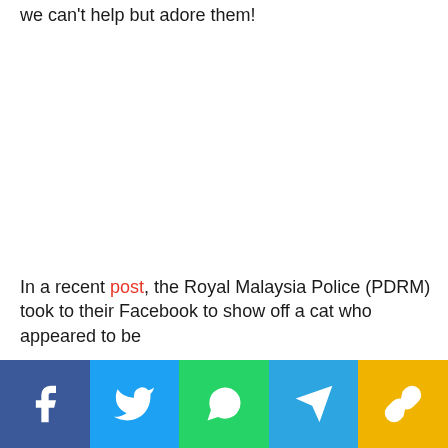we can't help but adore them!
[Figure (photo): Large image area (white/blank in this view) showing a cat photo]
In a recent post, the Royal Malaysia Police (PDRM) took to their Facebook to show off a cat who appeared to be
Social share bar with Facebook, Twitter, WhatsApp, Telegram, and Copy Link buttons